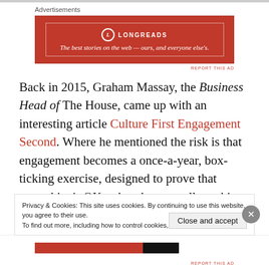Advertisements
[Figure (other): Longreads advertisement banner in red with text: The best stories on the web — ours, and everyone else's.]
Back in 2015, Graham Massay, the Business Head of The House, came up with an interesting article Culture First Engagement Second. Where he mentioned the risk is that engagement becomes a once-a-year, box-ticking exercise, designed to prove that everything's OK rather than actually making sure that everything's OK.
Privacy & Cookies: This site uses cookies. By continuing to use this website, you agree to their use. To find out more, including how to control cookies, see here: Cookie Policy
Close and accept